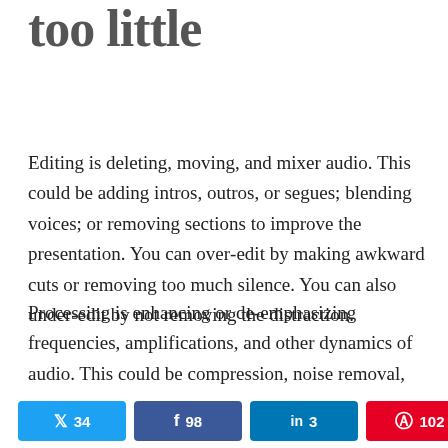too little
Editing is deleting, moving, and mixer audio. This could be adding intros, outros, or segues; blending voices; or removing sections to improve the presentation. You can over-edit by making awkward cuts or removing too much silence. You can also under-edit by not removing the distraction.
Processing is enhancing or de-emphasizing frequencies, amplifications, and other dynamics of audio. This could be compression, noise removal,
Twitter 34  Facebook 98  LinkedIn 3  Pinterest 102  < 237 SHARES